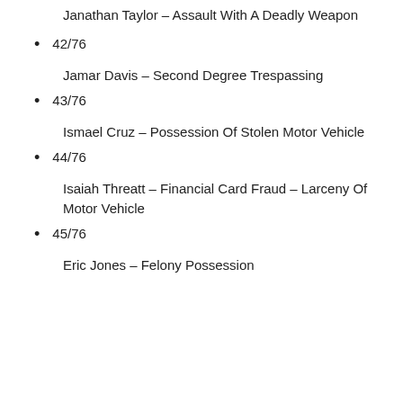Janathan Taylor – Assault With A Deadly Weapon
42/76
Jamar Davis – Second Degree Trespassing
43/76
Ismael Cruz – Possession Of Stolen Motor Vehicle
44/76
Isaiah Threatt – Financial Card Fraud – Larceny Of Motor Vehicle
45/76
Eric Jones – Felony Possession